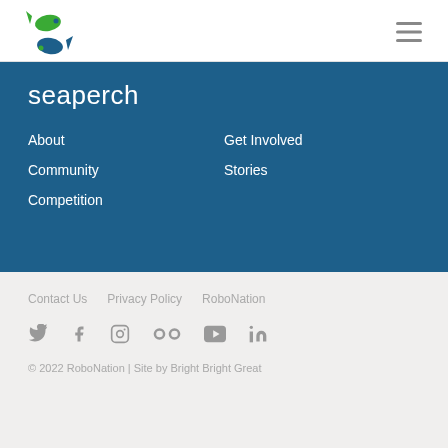SeaPerch logo and hamburger menu
[Figure (logo): SeaPerch logo: two stylized fish forming letters, green and teal colors]
seaperch
About
Get Involved
Community
Stories
Competition
Contact Us   Privacy Policy   RoboNation
[Figure (infographic): Social media icons: Twitter, Facebook, Instagram, Flickr, YouTube, LinkedIn]
© 2022 RoboNation | Site by Bright Bright Great